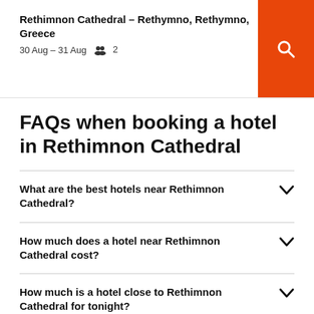Rethimnon Cathedral – Rethymno, Rethymno, Greece
30 Aug – 31 Aug  👥 2
FAQs when booking a hotel in Rethimnon Cathedral
What are the best hotels near Rethimnon Cathedral?
How much does a hotel near Rethimnon Cathedral cost?
How much is a hotel close to Rethimnon Cathedral for tonight?
How much is a hotel near Rethimnon Cathedral for this weekend?